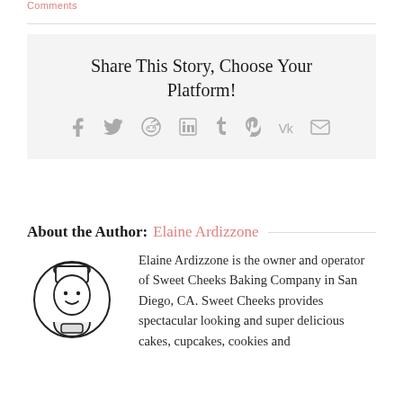Comments
Share This Story, Choose Your Platform!
[Figure (infographic): Social sharing icons: Facebook, Twitter, Reddit, LinkedIn, Tumblr, Pinterest, VK, Email]
About the Author: Elaine Ardizzone
[Figure (illustration): Cartoon illustration of a baker/chef character in a circle]
Elaine Ardizzone is the owner and operator of Sweet Cheeks Baking Company in San Diego, CA. Sweet Cheeks provides spectacular looking and super delicious cakes, cupcakes, cookies and